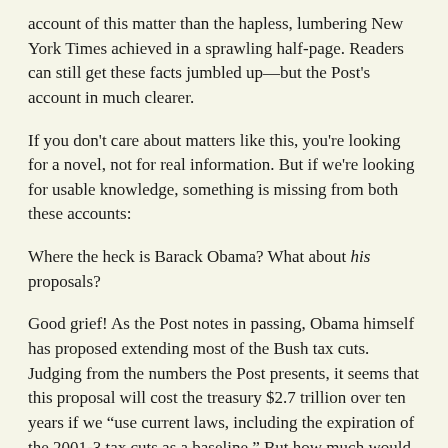account of this matter than the hapless, lumbering New York Times achieved in a sprawling half-page. Readers can still get these facts jumbled up—but the Post's account in much clearer.
If you don't care about matters like this, you're looking for a novel, not for real information. But if we're looking for usable knowledge, something is missing from both these accounts:
Where the heck is Barack Obama? What about his proposals?
Good grief! As the Post notes in passing, Obama himself has proposed extending most of the Bush tax cuts. Judging from the numbers the Post presents, it seems that this proposal will cost the treasury $2.7 trillion over ten years if we “use current laws, including the expiration of the 2001-3 tax cuts as a baseline.” But how much would Obama’s full set of proposals cost? Does a full set of proposals exist? Neither the Post nor the Times makes any attempt to say.
In the case of the hapless report by the Times, we’re told how much Perry’s proposals would cost. But we aren’t supposed to wonder or care about Obama’s proposals!